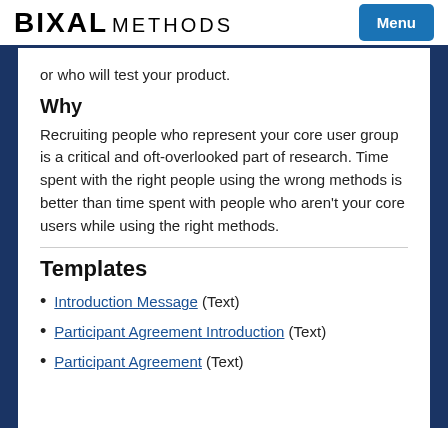BIXAL METHODS  Menu
or who will test your product.
Why
Recruiting people who represent your core user group is a critical and oft-overlooked part of research. Time spent with the right people using the wrong methods is better than time spent with people who aren't your core users while using the right methods.
Templates
Introduction Message (Text)
Participant Agreement Introduction (Text)
Participant Agreement (Text)